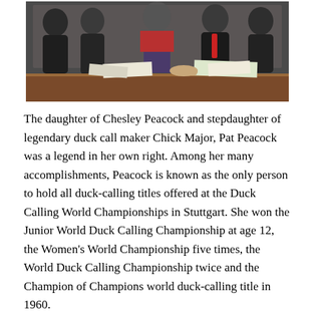[Figure (photo): A black and white group photo of several people standing around a desk. A person in a red sweater stands in the center, with others in suits on either side. Papers and documents are on the desk in front of them.]
The daughter of Chesley Peacock and stepdaughter of legendary duck call maker Chick Major, Pat Peacock was a legend in her own right. Among her many accomplishments, Peacock is known as the only person to hold all duck-calling titles offered at the Duck Calling World Championships in Stuttgart. She won the Junior World Duck Calling Championship at age 12, the Women's World Championship five times, the World Duck Calling Championship twice and the Champion of Champions world duck-calling title in 1960.
Peacock also was the first Queen Mallard of the Wings Over the Prairie Festival in 1955.